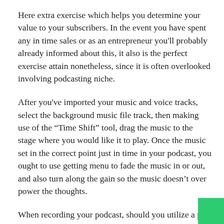Here extra exercise which helps you determine your value to your subscribers. In the event you have spent any in time sales or as an entrepreneur you'll probably already informed about this, it also is the perfect exercise attain nonetheless, since it is often overlooked involving podcasting niche.
After you've imported your music and voice tracks, select the background music file track, then making use of the “Time Shift” tool, drag the music to the stage where you would like it to play. Once the music set in the correct point just in time in your podcast, you ought to use getting menu to fade the music in or out, and also turn along the gain so the music doesn’t over power the thoughts.
When recording your podcast, should you utilize a piece...